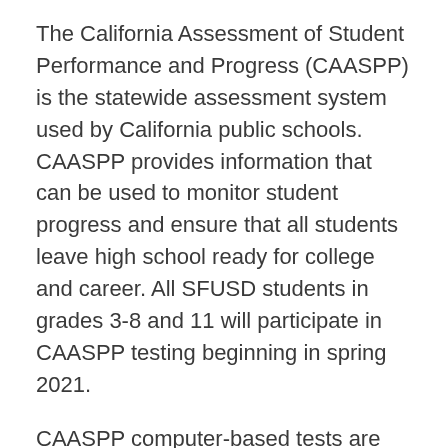The California Assessment of Student Performance and Progress (CAASPP) is the statewide assessment system used by California public schools. CAASPP provides information that can be used to monitor student progress and ensure that all students leave high school ready for college and career. All SFUSD students in grades 3-8 and 11 will participate in CAASPP testing beginning in spring 2021.
CAASPP computer-based tests are based on California Common Core State Standards for English language arts/literacy and mathematics. These assessments include the Smarter Balanced Assessments  or the California Alternate Assessment for some students with disabilities